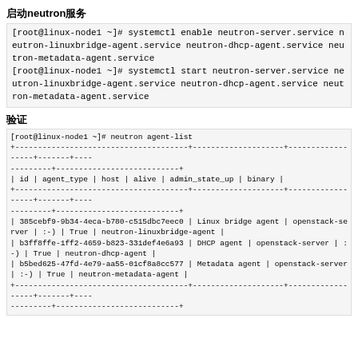启动neutron服务
[root@linux-node1 ~]# systemctl enable neutron-server.service neutron-linuxbridge-agent.service neutron-dhcp-agent.service neutron-metadata-agent.service
[root@linux-node1 ~]# systemctl start neutron-server.service neutron-linuxbridge-agent.service neutron-dhcp-agent.service neutron-metadata-agent.service
验证
[root@linux-node1 ~]# neutron agent-list
+------------------------------------+------------------+------------------+-------+----
-----------+---------------------------+
| id | agent_type | host | alive | admin_state_up | binary |
+------------------------------------+------------------+------------------+-------+----
-----------+---------------------------+
| 385cebf9-9b34-4eca-b780-c515dbc7eec0 | Linux bridge agent | openstack-server | :-) | True | neutron-linuxbridge-agent |
| b3ff8ffe-1ff2-4659-b823-331def4e6a93 | DHCP agent | openstack-server | :-) | True | neutron-dhcp-agent |
| b5bed625-47fd-4e79-aa55-01cf8a8cc577 | Metadata agent | openstack-server | :-) | True | neutron-metadata-agent |
+------------------------------------+------------------+------------------+-------+----
-----------+---------------------------+